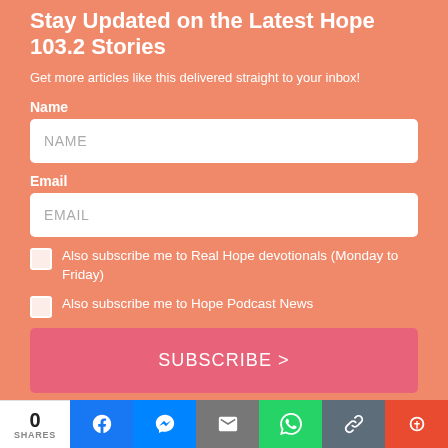Stay Updated on the Latest Hope 103.2 Stories
Get more articles like this delivered straight to your inbox!
Name
NAME
Email
EMAIL
Also subscribe me to Real Hope devotionals (Monday to Friday)
Also subscribe me to Hope Podcast News
SUBSCRIBE >
0 SHARES